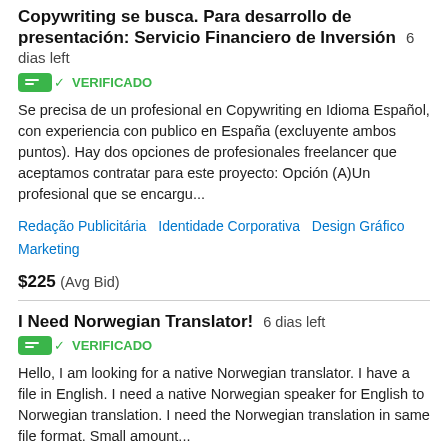Copywriting se busca. Para desarrollo de presentación: Servicio Financiero de Inversión 6 dias left
VERIFICADO
Se precisa de un profesional en Copywriting en Idioma Español, con experiencia con publico en España (excluyente ambos puntos). Hay dos opciones de profesionales freelancer que aceptamos contratar para este proyecto: Opción (A)Un profesional que se encargu...
Redação Publicitária   Identidade Corporativa   Design Gráfico   Marketing
$225  (Avg Bid)
I Need Norwegian Translator! 6 dias left
VERIFICADO
Hello, I am looking for a native Norwegian translator. I have a file in English. I need a native Norwegian speaker for English to Norwegian translation. I need the Norwegian translation in same file format. Small amount...